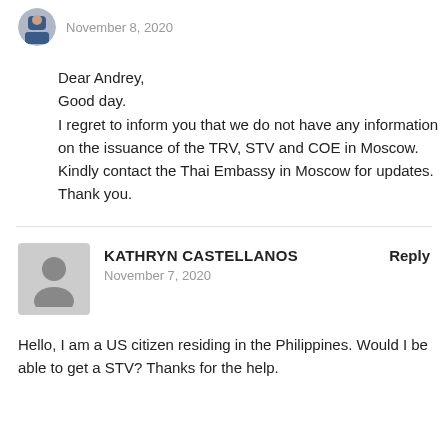[Figure (photo): Small circular avatar of a person in a blue suit, partially visible at top]
November 8, 2020
Dear Andrey,
Good day.
I regret to inform you that we do not have any information on the issuance of the TRV, STV and COE in Moscow. Kindly contact the Thai Embassy in Moscow for updates.
Thank you.
[Figure (photo): Gray placeholder avatar icon for Kathryn Castellanos]
KATHRYN CASTELLANOS
Reply
November 7, 2020
Hello, I am a US citizen residing in the Philippines. Would I be able to get a STV? Thanks for the help.